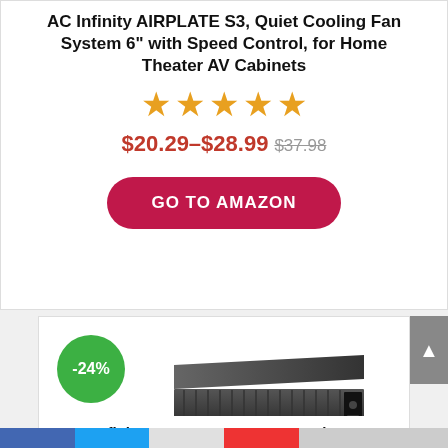AC Infinity AIRPLATE S3, Quiet Cooling Fan System 6" with Speed Control, for Home Theater AV Cabinets
[Figure (other): Five orange star rating icons]
$20.29–$28.99 $37.98
[Figure (other): GO TO AMAZON button in red/pink rounded rectangle]
[Figure (other): -24% green circular discount badge]
[Figure (photo): AC Infinity CLOUDPLATE T8 product image - a black rack-mount fan system unit shown in perspective]
AC Infinity CLOUDPLATE T8, N-Rack Mount...